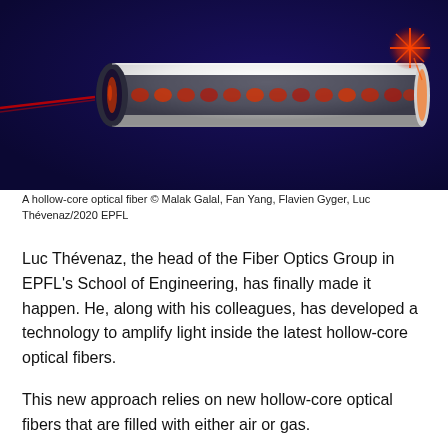[Figure (illustration): Illustration of a hollow-core optical fiber on a dark navy/purple background. The fiber is depicted as a long cylindrical tube with a white/silver exterior, showing internal structure with red/orange light patterns inside. A red laser beam enters from the left end and exits as a bright red starburst on the right. The background is dark blue-purple.]
A hollow-core optical fiber © Malak Galal, Fan Yang, Flavien Gyger, Luc Thévenaz/2020 EPFL
Luc Thévenaz, the head of the Fiber Optics Group in EPFL's School of Engineering, has finally made it happen. He, along with his colleagues, has developed a technology to amplify light inside the latest hollow-core optical fibers.
This new approach relies on new hollow-core optical fibers that are filled with either air or gas.